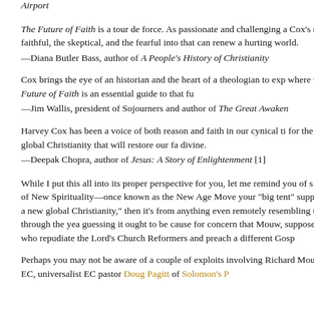Airport
The Future of Faith is a tour de force. As passionate and challenging a Cox's new book invites the faithful, the skeptical, and the fearful into that can renew a hurting world.
—Diana Butler Bass, author of A People's History of Christianity
Cox brings the eye of an historian and the heart of a theologian to exp where we're going. The Future of Faith is an essential guide to that fu
—Jim Wallis, president of Sojourners and author of The Great Awaken
Harvey Cox has been a voice of both reason and faith in our cynical ti for the resurrection of a new global Christianity that will restore our fa divine.
—Deepak Chopra, author of Jesus: A Story of Enlightenment [1]
While I put this all into its proper perspective for you, let me remind you of s pantheist proponent of New Spirituality—once known as the New Age Move your "big tent" supposed "resurrection of a new global Christianity," then it's from anything even remotely resembling the faith proclaimed through the yea guessing it ought to be cause for concern that Mouw, supposedly a Calvinist, these who repudiate the Lord's Church Reformers and preach a different Gosp
Perhaps you may not be aware of a couple of exploits involving Richard Mou dastardly duo of the EC, universalist EC pastor Doug Pagitt of Solomon's P